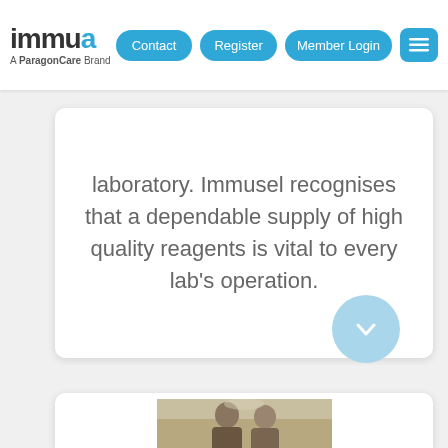immula – A ParagonCare Brand | Contact | Register | Member Login
laboratory. Immusel recognises that a dependable supply of high quality reagents is vital to every lab's operation.
[Figure (photo): Downward chevron arrow icon inside a light blue circular button]
[Figure (photo): Photograph showing two people in a laboratory or medical setting]